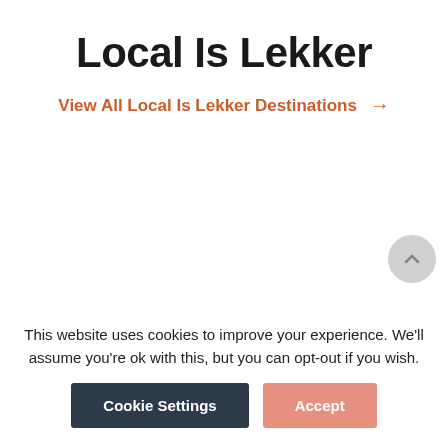Local Is Lekker
View All Local Is Lekker Destinations →
This website uses cookies to improve your experience. We'll assume you're ok with this, but you can opt-out if you wish.
Cookie Settings | Accept